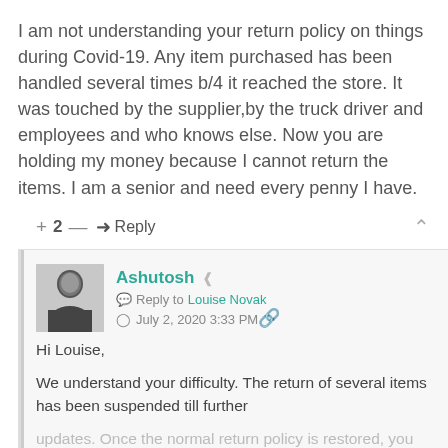I am not understanding your return policy on things during Covid-19. Any item purchased has been handled several times b/4 it reached the store. It was touched by the supplier,by the truck driver and employees and who knows else. Now you are holding my money because I cannot return the items. I am a senior and need every penny I have.
+ 2 —  Reply
Ashutosh  Reply to Louise Novak  July 2, 2020 3:33 PM
Hi Louise,

We understand your difficulty. The return of several items has been suspended till further updates. Once the normal return policy is restored, you will get a six week return window to